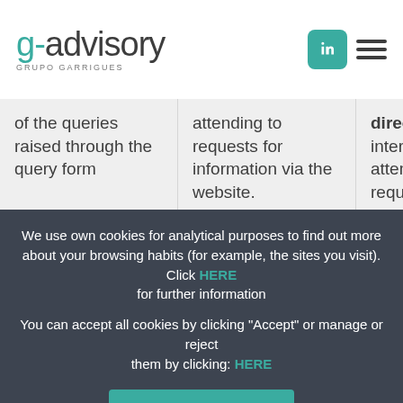[Figure (logo): g-advisory Grupo Garrigues logo with teal 'g-' and dark text 'advisory', LinkedIn icon, and hamburger menu icon]
of the queries raised through the query form
attending to requests for information via the website.
directly legitimate interest in attending to your request for informationAdditional service providers to those indicated in section 3c will not access your personal data.
We use own cookies for analytical purposes to find out more about your browsing habits (for example, the sites you visit). Click HERE for further information
You can accept all cookies by clicking "Accept" or manage or reject them by clicking: HERE
ACCEPT